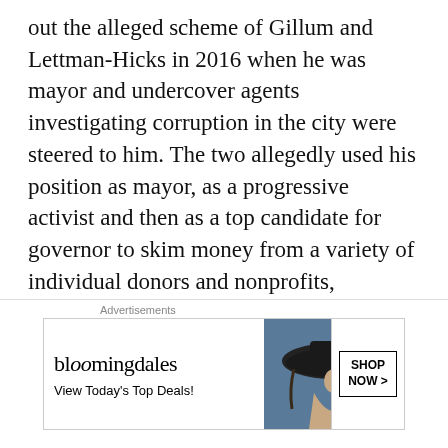out the alleged scheme of Gillum and Lettman-Hicks in 2016 when he was mayor and undercover agents investigating corruption in the city were steered to him. The two allegedly used his position as mayor, as a progressive activist and then as a top candidate for governor to skim money from a variety of individual donors and nonprofits, fraudulently pretending to perform voter outreach or to fight for local-government rights while pocketing the cash — even after his campaign for governor ended in 2018.
Gillum's decision to resign from his job at the liberal group People for the American Way in early
[Figure (other): Bloomingdale's advertisement banner with logo, 'View Today's Top Deals!' tagline, woman wearing a large dark hat, and 'SHOP NOW >' button]